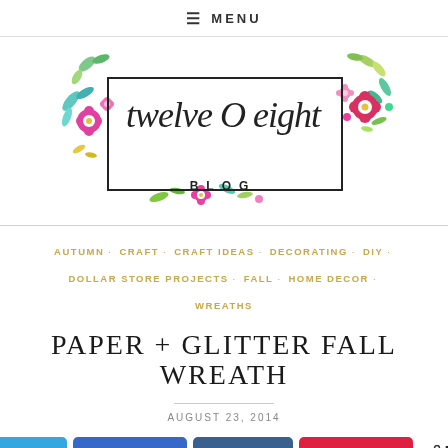≡ MENU
[Figure (logo): twelve O eight BLOG logo with floral watercolor decorations and rectangular border]
AUTUMN · CRAFT · CRAFT IDEAS · DECORATING · DIY · DOLLAR STORE PROJECTS · FALL · HOME DECOR · WREATHS
PAPER + GLITTER FALL WREATH
AUGUST 23, 2014
Twitter share  Facebook share 12  LinkedIn share in  Pinterest share 749  < 761 SHARES